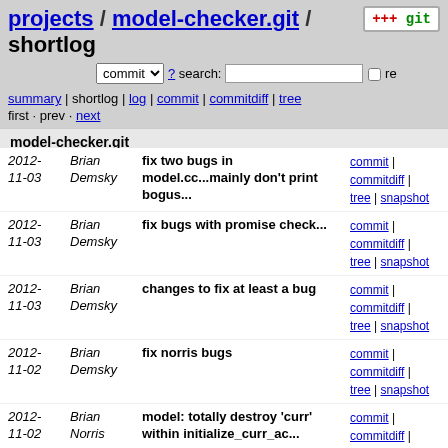projects / model-checker.git / shortlog
commit ▾ ? search: □ re
summary | shortlog | log | commit | commitdiff | tree
first · prev · next
model-checker.git
2012-11-03 | Brian Demsky | fix two bugs in model.cc...mainly don't print bogus... | commit | commitdiff | tree | snapshot
2012-11-03 | Brian Demsky | fix bugs with promise check... | commit | commitdiff | tree | snapshot
2012-11-03 | Brian Demsky | changes to fix at least a bug | commit | commitdiff | tree | snapshot
2012-11-02 | Brian Demsky | fix norris bugs | commit | commitdiff | tree | snapshot
2012-11-02 | Brian Norris | model: totally destroy 'curr' within initialize_curr_ac... | commit | commitdiff | tree | snapshot
2012-11-02 | Brian Norris | clockvector: remove old include | commit | commitdiff | tree | snapshot
2012-11-01 | Brian Demsky | found the bug | commit | commitdiff | tree | snapshot
2012-11-01 | Brian Demsky | realloc doesn't guarantee zeroing... | commit | commitdiff | tree | snapshot
2012-11-01 | Brian Demsky | bug | commit | commitdiff